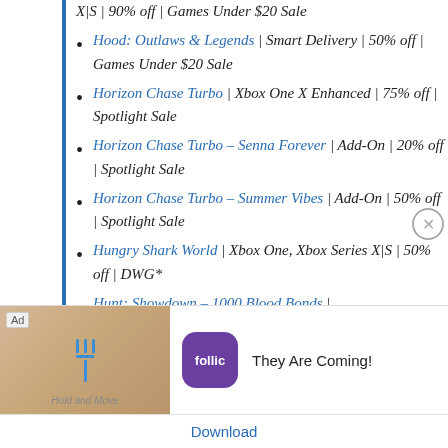X|S | 90% off | Games Under $20 Sale
Hood: Outlaws & Legends | Smart Delivery | 50% off | Games Under $20 Sale
Horizon Chase Turbo | Xbox One X Enhanced | 75% off | Spotlight Sale
Horizon Chase Turbo – Senna Forever | Add-On | 20% off | Spotlight Sale
Horizon Chase Turbo – Summer Vibes | Add-On | 50% off | Spotlight Sale
Hungry Shark World | Xbox One, Xbox Series X|S | 50% off | DWG*
Hunt: Showdown – 1000 Blood Bonds |
[Figure (screenshot): Advertisement banner for 'Hold and Move' app by Rollic, showing a fork icon on a wooden background, purple app icon with 'follic' text, and 'They Are Coming!' headline with a Download button.]